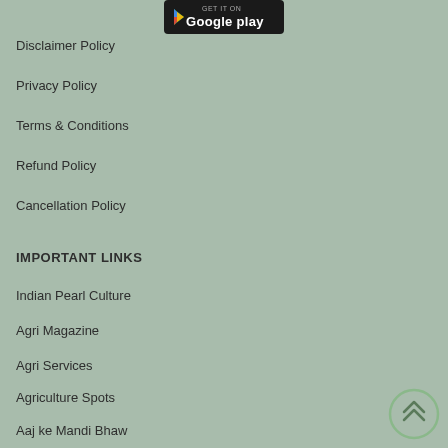[Figure (logo): Google Play store badge/button at top of page]
Disclaimer Policy
Privacy Policy
Terms & Conditions
Refund Policy
Cancellation Policy
IMPORTANT LINKS
Indian Pearl Culture
Agri Magazine
Agri Services
Agriculture Spots
Aaj ke Mandi Bhaw
[Figure (other): Scroll-to-top circular button with double chevron up arrow, bottom right corner]